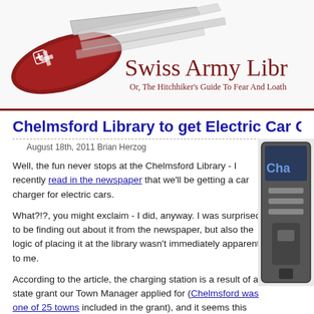[Figure (illustration): Swiss Army Library blog header banner with a Swiss Army knife (red handle, silver tools) on the left and the blog title 'Swiss Army Libr...' and subtitle 'Or, The Hitchhiker's Guide To Fear And Loath...' in dark red serif font on the right]
Chelmsford Library to get Electric Car Charging Sta...
August 18th, 2011 Brian Herzog
Well, the fun never stops at the Chelmsford Library - I recently read in the newspaper that we'll be getting a car charger for electric cars.
What?!?, you might exclaim - I did, anyway. I was surprised to be finding out about it from the newspaper, but also the logic of placing it at the library wasn't immediately apparent to me.
According to the article, the charging station is a result of a state grant our Town Manager applied for (Chelmsford was one of 25 towns included in the grant), and it seems this project is really being driven by the Town (rather than the library).
The Town's Facilities Manager is attending an informational
[Figure (photo): Partial image of an electric car charging station device, dark colored with 'Cha...' visible text, on the right side of the page]